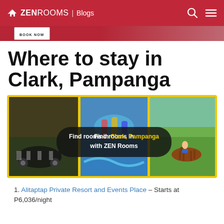ZEN ROOMS | Blogs
[Figure (photo): Red banner with BOOK NOW button and partial image of person]
Where to stay in Clark, Pampanga
[Figure (infographic): Collage of Clark Pampanga attractions with yellow border and overlay text: Find rooms in Clark, Pampanga with ZEN Rooms]
1. Alitaptap Private Resort and Events Place — Starts at P6,036/night